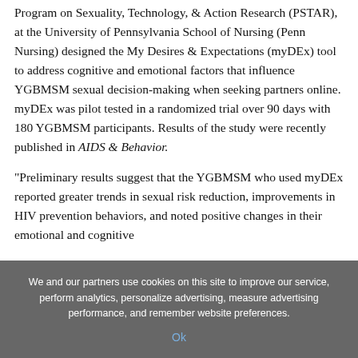Program on Sexuality, Technology, & Action Research (PSTAR), at the University of Pennsylvania School of Nursing (Penn Nursing) designed the My Desires & Expectations (myDEx) tool to address cognitive and emotional factors that influence YGBMSM sexual decision-making when seeking partners online. myDEx was pilot tested in a randomized trial over 90 days with 180 YGBMSM participants. Results of the study were recently published in AIDS & Behavior.
"Preliminary results suggest that the YGBMSM who used myDEx reported greater trends in sexual risk reduction, improvements in HIV prevention behaviors, and noted positive changes in their emotional and cognitive decision-making," Researchers said. "This is positive...
We and our partners use cookies on this site to improve our service, perform analytics, personalize advertising, measure advertising performance, and remember website preferences.